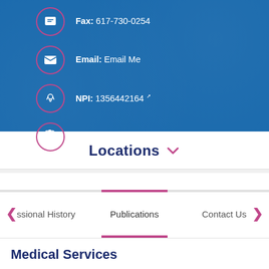Fax: 617-730-0254
Email: Email Me
NPI: 1356442164
Print Profile
Locations
ssional History
Publications
Contact Us
Medical Services
Departments